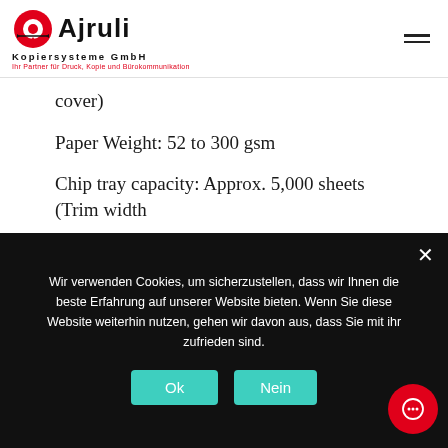Ajruli Kopiersysteme GmbH – Ihr Partner für Druck, Kopie und Bürokommunikation
cover)
Paper Weight: 52 to 300 gsm
Chip tray capacity: Approx. 5,000 sheets (Trim width
20mm, A4, 80 gsm)
Dimensions (W x D x H): 2,095 mm
Wir verwenden Cookies, um sicherzustellen, dass wir Ihnen die beste Erfahrung auf unserer Website bieten. Wenn Sie diese Website weiterhin nutzen, gehen wir davon aus, dass Sie mit ihr zufrieden sind.